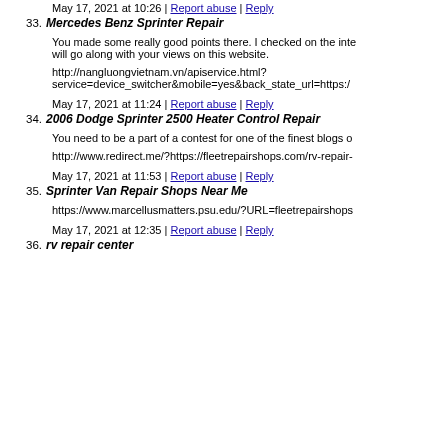replacement-shop-near-me/
May 17, 2021 at 10:26 | Report abuse | Reply
33. Mercedes Benz Sprinter Repair
You made some really good points there. I checked on the inte will go along with your views on this website.
http://nangluongvietnam.vn/apiservice.html?service=device_switcher&mobile=yes&back_state_url=https:/
May 17, 2021 at 11:24 | Report abuse | Reply
34. 2006 Dodge Sprinter 2500 Heater Control Repair
You need to be a part of a contest for one of the finest blogs o
http://www.redirect.me/?https://fleetrepairshops.com/rv-repair-
May 17, 2021 at 11:53 | Report abuse | Reply
35. Sprinter Van Repair Shops Near Me
https://www.marcellusmatters.psu.edu/?URL=fleetrepairshops
May 17, 2021 at 12:35 | Report abuse | Reply
36. rv repair center